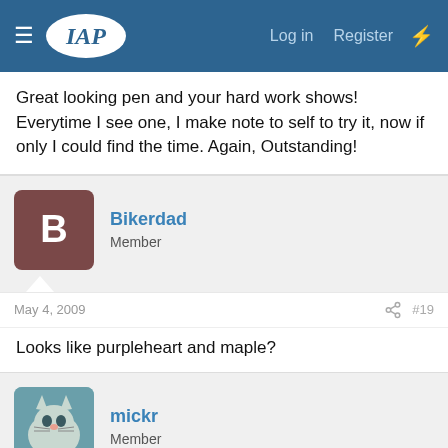IAP — Log in   Register
Great looking pen and your hard work shows! Everytime I see one, I make note to self to try it, now if only I could find the time. Again, Outstanding!
Bikerdad
Member
May 4, 2009   #19
Looks like purpleheart and maple?
mickr
Member
May 5, 2009   #20
beautifully executed